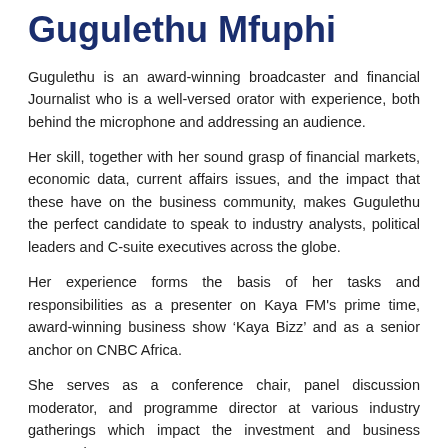Gugulethu Mfuphi
Gugulethu is an award-winning broadcaster and financial Journalist who is a well-versed orator with experience, both behind the microphone and addressing an audience.
Her skill, together with her sound grasp of financial markets, economic data, current affairs issues, and the impact that these have on the business community, makes Gugulethu the perfect candidate to speak to industry analysts, political leaders and C-suite executives across the globe.
Her experience forms the basis of her tasks and responsibilities as a presenter on Kaya FM's prime time, award-winning business show ‘Kaya Bizz’ and as a senior anchor on CNBC Africa.
She serves as a conference chair, panel discussion moderator, and programme director at various industry gatherings which impact the investment and business community.
Gugulethu has gained a wealth of experience in South Africa’s